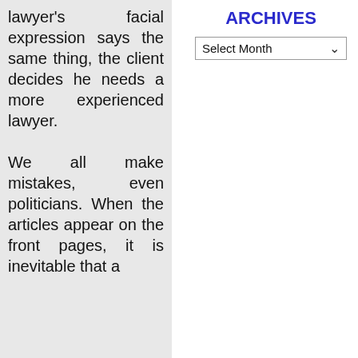lawyer's facial expression says the same thing, the client decides he needs a more experienced lawyer.

We all make mistakes, even politicians. When the articles appear on the front pages, it is inevitable that a
ARCHIVES
Select Month